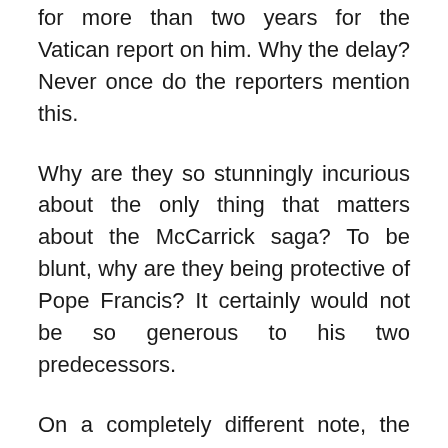for more than two years for the Vatican report on him. Why the delay? Never once do the reporters mention this.
Why are they so stunningly incurious about the only thing that matters about the McCarrick saga? To be blunt, why are they being protective of Pope Francis? It certainly would not be so generous to his two predecessors.
On a completely different note, the newspaper did a story on Nick Cannon, a prominent media star who was fired from